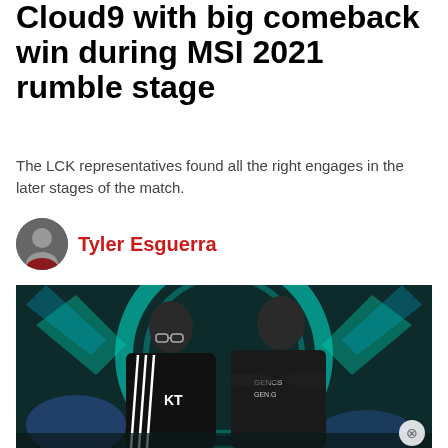Cloud9 with big comeback win during MSI 2021 rumble stage
The LCK representatives found all the right engages in the later stages of the match.
Tyler Esguerra
[Figure (photo): Two esports players in black team jerseys standing back-to-back with arms crossed in front of an illuminated MSI 2021 stage background with teal circular design.]